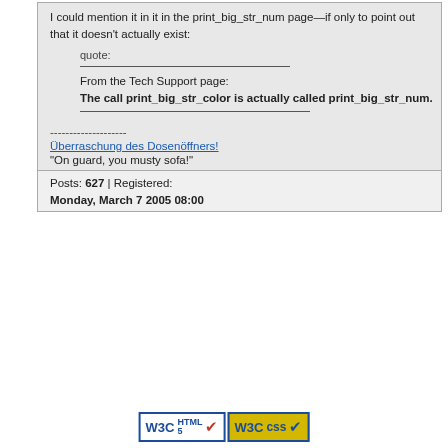I could mention it in it in the print_big_str_num page—if only to point out that it doesn't actually exist:
quote:

From the Tech Support page:
The call print_big_str_color is actually called print_big_str_num.
--------------------
Überraschung des Dosenöffners!
"On guard, you musty sofa!"
Posts: 627 | Registered:
Monday, March 7 2005 08:00
[Figure (logo): W3C HTML5 validation badge]
[Figure (logo): W3C CSS validation badge]